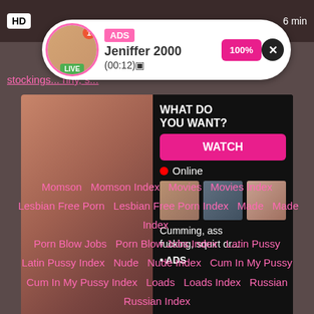[Figure (screenshot): Adult website screenshot with HD badge, live notification popup showing 'ADS Jeniffer 2000 (00:12)', adult ad banner with WHAT DO YOU WANT? WATCH button, Online indicator, thumbnails, and text 'Cumming, ass fucking, squirt or... ADS']
stocking... nny, s...
WHAT DO YOU WANT?
WATCH
Online
Cumming, ass fucking, squirt or...
• ADS
Momson   Momson Index   Movies   Movies Index
Lesbian Free Porn   Lesbian Free Porn Index   Made   Made Index
Porn Blow Jobs   Porn Blow Jobs Index   Latin Pussy
Latin Pussy Index   Nude   Nude Index   Cum In My Pussy
Cum In My Pussy Index   Loads   Loads Index   Russian
Russian Index